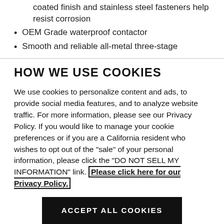coated finish and stainless steel fasteners help resist corrosion
OEM Grade waterproof contactor
Smooth and reliable all-metal three-stage
HOW WE USE COOKIES
We use cookies to personalize content and ads, to provide social media features, and to analyze website traffic. For more information, please see our Privacy Policy. If you would like to manage your cookie preferences or if you are a California resident who wishes to opt out of the "sale" of your personal information, please click the "DO NOT SELL MY INFORMATION" link. Please click here for our Privacy Policy.
DO NOT SELL MY INFORMATION
ACCEPT ALL COOKIES